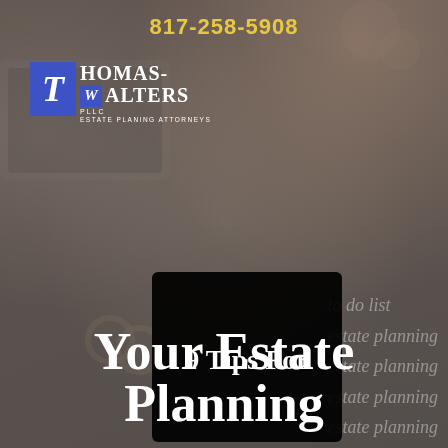817-258-5908
[Figure (logo): Thomas-Walters PLLC Estate Planning Attorneys logo with blue block letters T and W]
[Figure (photo): Dark-tinted background photo of a desk with laptop, flowers, rings, notebook with cursive 'estate planning' writing, and a hand holding a phone]
9 Tips For Your Estate Planning